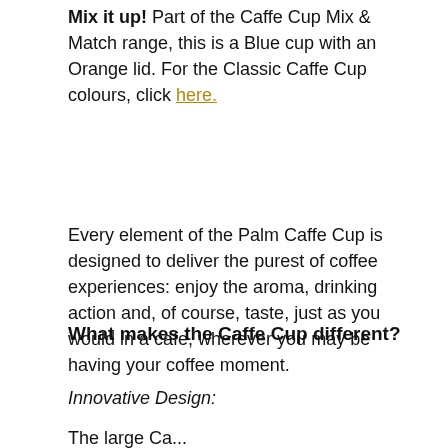Mix it up! Part of the Caffe Cup Mix & Match range, this is a Blue cup with an Orange lid. For the Classic Caffe Cup colours, click here.
Every element of the Palm Caffe Cup is designed to deliver the purest of coffee experiences: enjoy the aroma, drinking action and, of course, taste, just as you would in a cafe, wherever you may be having your coffee moment.
What makes the Caffe Cup different?
Innovative Design:
The large...